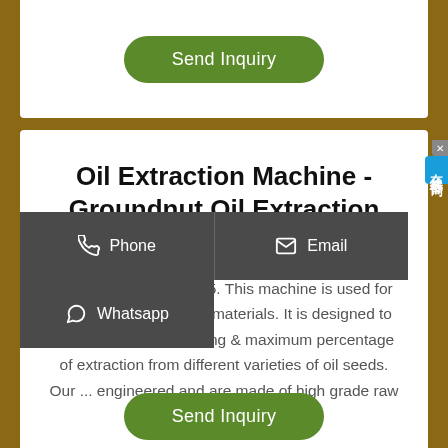[Figure (screenshot): Green 'Send Inquiry' button at top of page]
Oil Extraction Machine - Groundnut Oil Extraction Machine
Oil Expeller - Mohit 625. This machine is used for extracting oil from raw materials. It is designed to ensure modern oil milling & maximum percentage of extraction from different varieties of oil seeds. Our ... are made of high grade raw material.
[Figure (screenshot): Dark contact bar overlays with Phone, Email, and Whatsapp buttons]
[Figure (screenshot): Green 'Send Inquiry' button at bottom of page]
[Figure (screenshot): Chinese language badge on right side reading 在线咨询]